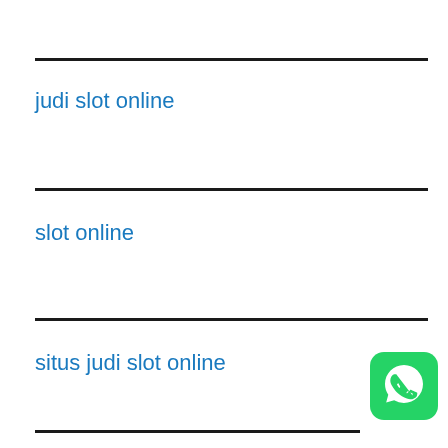judi slot online
slot online
situs judi slot online
[Figure (logo): WhatsApp logo icon — green rounded square with white phone handset in chat bubble]